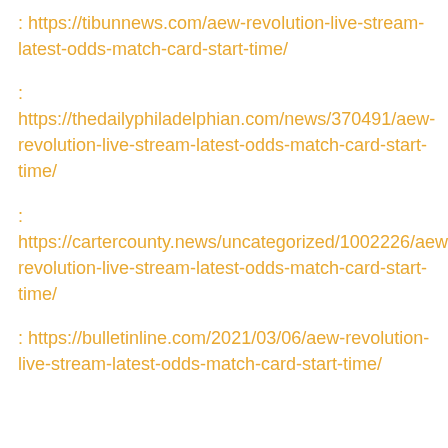: https://tibunnews.com/aew-revolution-live-stream-latest-odds-match-card-start-time/
: https://thedailyphiladelphian.com/news/370491/aew-revolution-live-stream-latest-odds-match-card-start-time/
: https://cartercounty.news/uncategorized/1002226/aew-revolution-live-stream-latest-odds-match-card-start-time/
: https://bulletinline.com/2021/03/06/aew-revolution-live-stream-latest-odds-match-card-start-time/